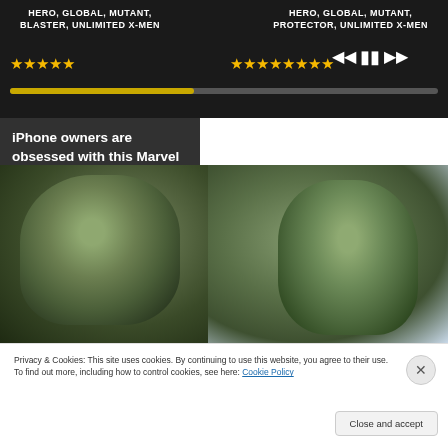[Figure (screenshot): Advertisement banner showing Marvel X-Men game with star ratings, hero tags (HERO, GLOBAL, MUTANT, BLASTER, UNLIMITED X-MEN on left; HERO, GLOBAL, MUTANT, PROTECTOR, UNLIMITED X-MEN on right), yellow star ratings, a progress bar, and media playback controls on dark background.]
iPhone owners are obsessed with this Marvel game
[Figure (photo): Photo of two green-skinned Marvel characters (Hulk and She-Hulk) facing each other outdoors with trees and blue sky in background.]
Privacy & Cookies: This site uses cookies. By continuing to use this website, you agree to their use.
To find out more, including how to control cookies, see here: Cookie Policy
Close and accept